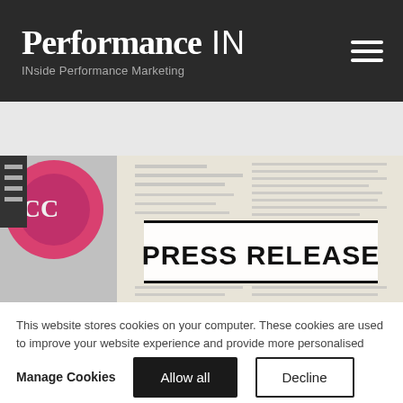Performance IN — INside Performance Marketing
[Figure (photo): Press release newspaper image with Chanel bag and text 'PRESS RELEASE' stamped on a newspaper]
This website stores cookies on your computer. These cookies are used to improve your website experience and provide more personalised services to you, both on this website and through other media. To find out more about the cookies we use, see our privacy policy.
Manage Cookies   Allow all   Decline